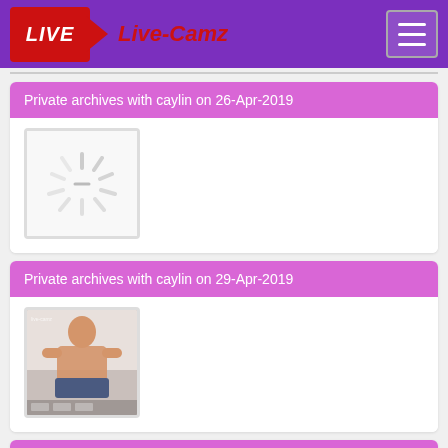Live-Camz
Private archives with caylin on 26-Apr-2019
[Figure (photo): Loading spinner / thumbnail placeholder for caylin 26-Apr-2019 archive]
Private archives with caylin on 29-Apr-2019
[Figure (photo): Thumbnail image for caylin 29-Apr-2019 archive showing a person]